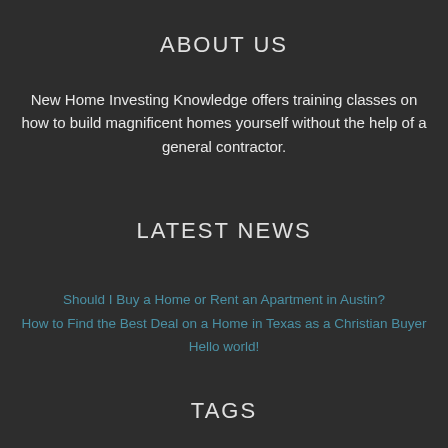ABOUT US
New Home Investing Knowledge offers training classes on how to build magnificent homes yourself without the help of a general contractor.
LATEST NEWS
Should I Buy a Home or Rent an Apartment in Austin?
How to Find the Best Deal on a Home in Texas as a Christian Buyer
Hello world!
TAGS